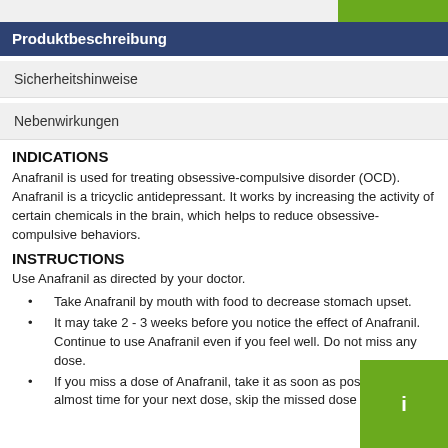Produktbeschreibung
Sicherheitshinweise
Nebenwirkungen
INDICATIONS
Anafranil is used for treating obsessive-compulsive disorder (OCD). Anafranil is a tricyclic antidepressant. It works by increasing the activity of certain chemicals in the brain, which helps to reduce obsessive-compulsive behaviors.
INSTRUCTIONS
Use Anafranil as directed by your doctor.
Take Anafranil by mouth with food to decrease stomach upset.
It may take 2 - 3 weeks before you notice the effect of Anafranil. Continue to use Anafranil even if you feel well. Do not miss any dose.
If you miss a dose of Anafranil, take it as soon as possible. If it is almost time for your next dose, skip the missed dose and go